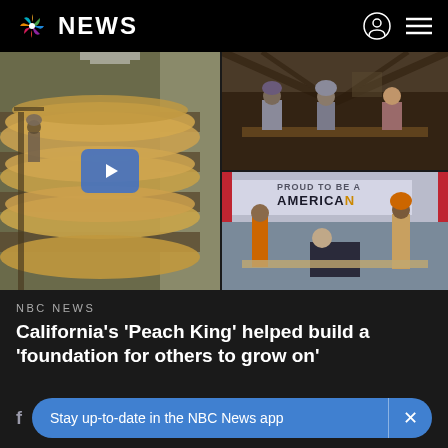NBC NEWS
[Figure (screenshot): NBC News website screenshot showing a video thumbnail with three panels: left panel shows a man standing in a warehouse with peaches/produce piled in bins, center has a blue play button overlay, top-right shows people seated at a table in a barn-like setting, bottom-right shows a group of people including Sikh men at what appears to be a public event with a banner reading 'PROUD TO BE AN AMERICAN']
NBC NEWS
California's 'Peach King' helped build a 'foundation for others to grow on'
Stay up-to-date in the NBC News app